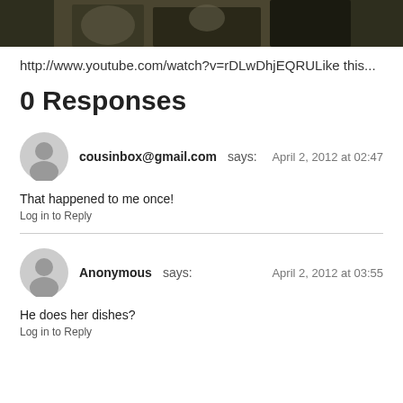[Figure (photo): Top portion of a photo showing people, partially cropped]
http://www.youtube.com/watch?v=rDLwDhjEQRULike this...
0 Responses
cousinbox@gmail.com says: April 2, 2012 at 02:47
That happened to me once!
Log in to Reply
Anonymous says: April 2, 2012 at 03:55
He does her dishes?
Log in to Reply